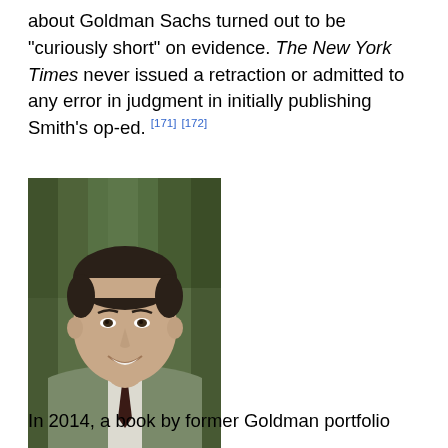about Goldman Sachs turned out to be "curiously short" on evidence. The New York Times never issued a retraction or admitted to any error in judgment in initially publishing Smith's op-ed. [171] [172]
[Figure (photo): Portrait photo of Steven Mandis, a man in a grey-green sweater with a dark tie, smiling, with foliage in the background.]
Steven Mandis
In 2014, a book by former Goldman portfolio